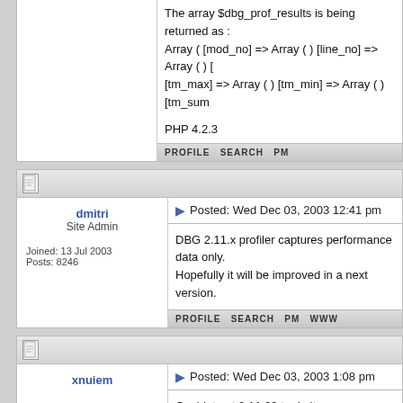The array $dbg_prof_results is being returned as :
Array ( [mod_no] => Array () [line_no] => Array () [
[tm_max] => Array () [tm_min] => Array () [tm_sum

PHP 4.2.3
PROFILE  SEARCH  PM
dmitri
Site Admin
Joined: 13 Jul 2003
Posts: 8246
Posted: Wed Dec 03, 2003 12:41 pm
DBG 2.11.x profiler captures performance data only.
Hopefully it will be improved in a next version.
PROFILE  SEARCH  PM  WWW
xnuiem
Joined: 04 Dec 2003
Posts: 2
Posted: Wed Dec 03, 2003 1:08 pm
Couldnt get 2.11.23 to do it.

However I had forgotten i had 2.11.5 in production a

In php.ini I have
extension=dbg.so